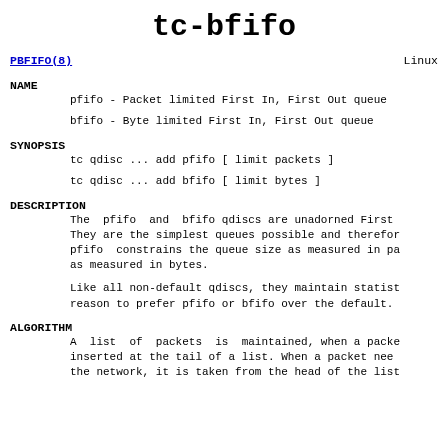tc-bfifo
PBFIFO(8)                                          Linux
NAME
pfifo - Packet limited First In, First Out queue
bfifo - Byte limited First In, First Out queue
SYNOPSIS
tc qdisc ... add pfifo [ limit packets ]
tc qdisc ... add bfifo [ limit bytes ]
DESCRIPTION
The  pfifo  and  bfifo qdiscs are unadorned First. They are the simplest queues possible and therefor. pfifo  constrains the queue size as measured in pa. as measured in bytes.
Like all non-default qdiscs, they maintain statist. reason to prefer pfifo or bfifo over the default.
ALGORITHM
A  list  of  packets  is  maintained, when a packe. inserted at the tail of a list. When a packet nee. the network, it is taken from the head of the list